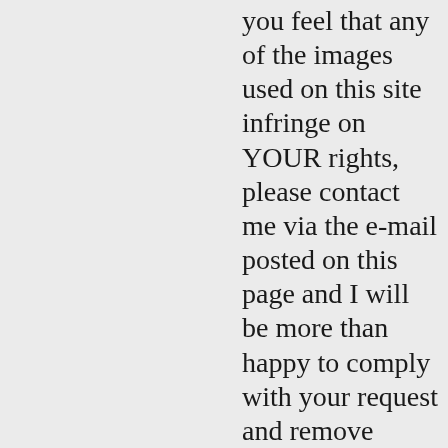you feel that any of the images used on this site infringe on YOUR rights, please contact me via the e-mail posted on this page and I will be more than happy to comply with your request and remove them. All